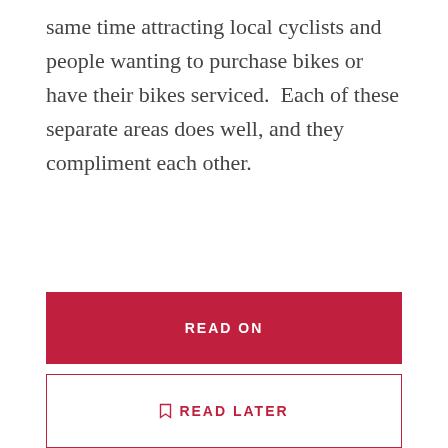same time attracting local cyclists and people wanting to purchase bikes or have their bikes serviced.  Each of these separate areas does well, and they compliment each other.
READ ON
READ LATER
AUSSIE MADE POS SOFTWARE FOR SPECIALTY RETAIL
May 14, 2022  /  1 Min read